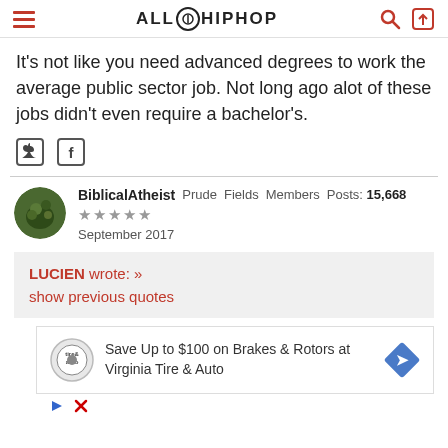ALL HIPHOP
It's not like you need advanced degrees to work the average public sector job. Not long ago alot of these jobs didn't even require a bachelor's.
[Figure (other): Social share icons: Twitter (square bird icon) and Facebook (f icon)]
BiblicalAtheist  Prude  Fields  Members  Posts: 15,668
★★★★★
September 2017
LUCIEN wrote: »
show previous quotes
[Figure (other): Advertisement: Save Up to $100 on Brakes & Rotors at Virginia Tire & Auto, with tire auto logo and blue diamond arrow icon]